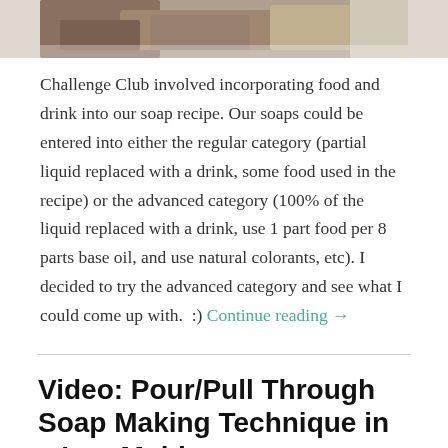[Figure (photo): Top portion of a photograph showing soap bars on a surface, cropped at the top of the page.]
Challenge Club involved incorporating food and drink into our soap recipe. Our soaps could be entered into either the regular category (partial liquid replaced with a drink, some food used in the recipe) or the advanced category (100% of the liquid replaced with a drink, use 1 part food per 8 parts base oil, and use natural colorants, etc). I decided to try the advanced category and see what I could come up with.  :) Continue reading →
Video: Pour/Pull Through Soap Making Technique in a Log Mold
JUNE 20, 2019  /  4 COMMENTS